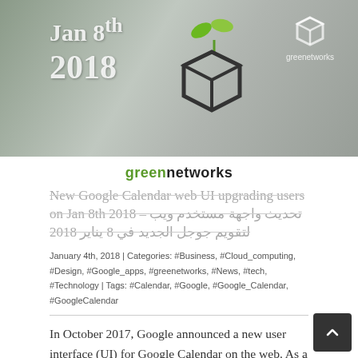[Figure (photo): Header banner image with keyboard/hands background, date 'Jan 8th 2018', greenetworks logo in center and top-right corner]
greenetworks
New Google Calendar web UI upgrading users on Jan 8th 2018 – تحديث واجهة مستخدم ويب لتقويم جوجل الجديد في 8 يناير 2018
January 4th, 2018 | Categories: #Business, #Cloud_computing, #Design, #Google_apps, #greenetworks, #News, #tech, #Technology | Tags: #Calendar, #Google, #Google_Calendar, #GoogleCalendar
In October 2017, Google announced a new user interface (UI) for Google Calendar on the web. As a reminder, admins have several options for how